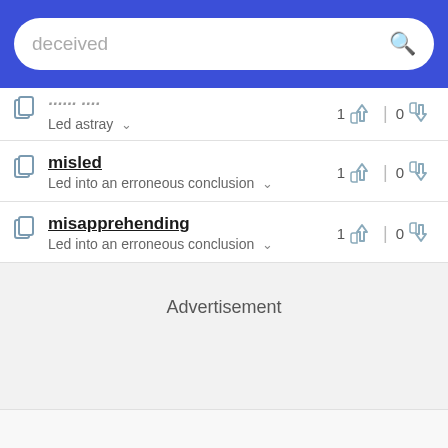deceived [search bar]
Led astray
misled - Led into an erroneous conclusion - 1 upvote, 0 downvote
misapprehending - Led into an erroneous conclusion - 1 upvote, 0 downvote
Advertisement